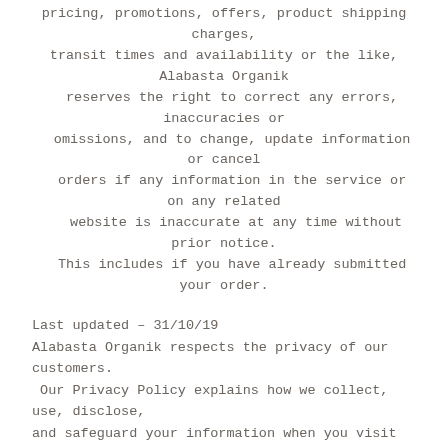pricing, promotions, offers, product shipping charges, transit times and availability or the like, Alabasta Organik reserves the right to correct any errors, inaccuracies or omissions, and to change, update information or cancel orders if any information in the service or on any related website is inaccurate at any time without prior notice. This includes if you have already submitted your order.
Last updated – 31/10/19 Alabasta Organik respects the privacy of our customers. Our Privacy Policy explains how we collect, use, disclose, and safeguard your information when you visit our website, including any other media form, media channel, mobile website, or mobile application. Please read this Privacy Policy carefully. If you do not agree with the terms of this Privacy Policy, please do not purchase from this site. Alabasta Organik reserves the right to make changes to this Privacy Policy at any time. We will alert you about